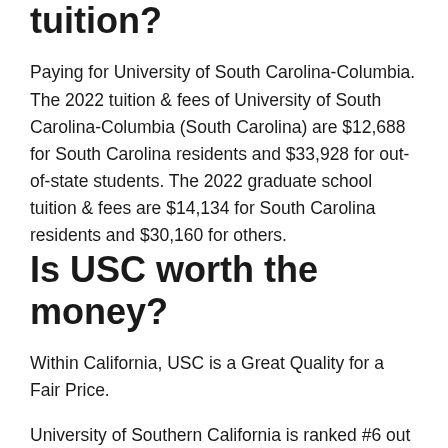tuition?
Paying for University of South Carolina-Columbia. The 2022 tuition & fees of University of South Carolina-Columbia (South Carolina) are $12,688 for South Carolina residents and $33,928 for out-of-state students. The 2022 graduate school tuition & fees are $14,134 for South Carolina residents and $30,160 for others.
Is USC worth the money?
Within California, USC is a Great Quality for a Fair Price.
University of Southern California is ranked #6 out of #116 in California for quality and